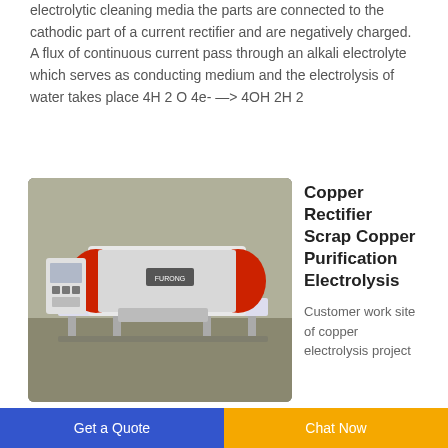electrolytic cleaning media the parts are connected to the cathodic part of a current rectifier and are negatively charged. A flux of continuous current pass through an alkali electrolyte which serves as conducting medium and the electrolysis of water takes place 4H 2 O 4e- —> 4OH 2H 2
[Figure (photo): Industrial copper rectifier / scrap copper purification electrolysis machine — a large white horizontal cylinder-drum machine with red end caps, mounted on a frame, with a control panel on the left side, photographed in an industrial warehouse setting.]
Copper Rectifier Scrap Copper Purification Electrolysis
Customer work site of copper electrolysis project Figure 1 shows the
Get a Quote   Chat Now